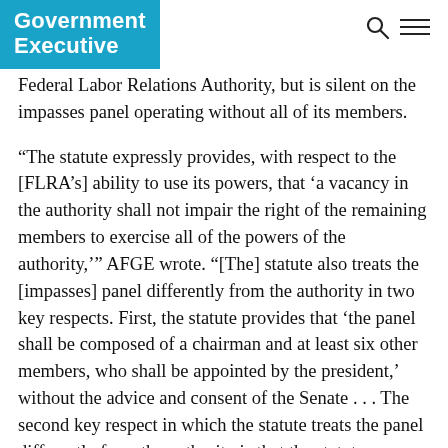Government Executive
Federal Labor Relations Authority, but is silent on the impasses panel operating without all of its members.
“The statute expressly provides, with respect to the [FLRA’s] ability to use its powers, that ‘a vacancy in the authority shall not impair the right of the remaining members to exercise all of the powers of the authority,’” AFGE wrote. “[The] statute also treats the [impasses] panel differently from the authority in two key respects. First, the statute provides that ‘the panel shall be composed of a chairman and at least six other members, who shall be appointed by the president,’ without the advice and consent of the Senate . . . The second key respect in which the statute treats the panel differently from the authority is that the statute contains no provision that grants the panel or its members the ability to exercise any of the panel’s powers